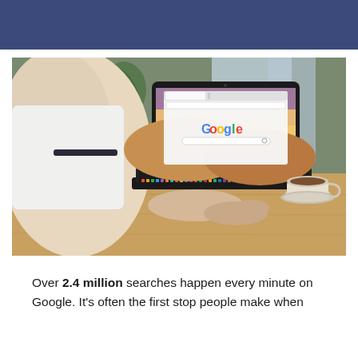[Figure (photo): Person sitting at a wooden desk using a MacBook laptop displaying the Google homepage. A coffee cup and saucer are on the desk to the right. A potted plant is visible in the background near a window.]
Over 2.4 million searches happen every minute on Google. It's often the first stop people make when they need it.